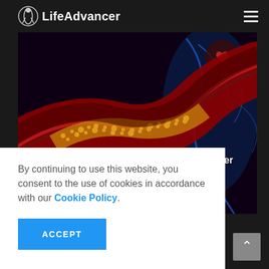LifeAdvancer
[Figure (illustration): Medical illustration showing a cross-section of an artery with cholesterol plaque buildup (golden/yellow granular deposits), red blood cells flowing through, and a human torso with highlighted heart and vascular system in blue on a dark background. Text overlay reads: 'How To Eat A Heart-Healthy Diet To Lower Your Risk Of Cardiovascular Disease' with watermark 'www.LifeAdvancer.com']
How To Eat A Heart-Healthy Diet To Lower Your Risk Of Cardiovascular Disease
By continuing to use this website, you consent to the use of cookies in accordance with our Cookie Policy.
ACCEPT